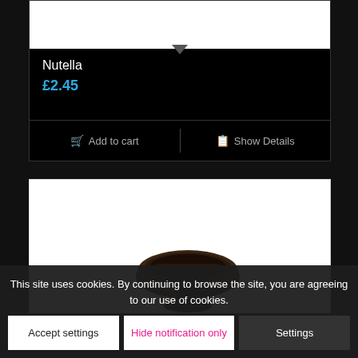[Figure (photo): White product image area for Nutella product card]
Nutella
£2.45
Add to cart
Show Details
[Figure (photo): Photo of an Oreo cookie standing on edge against white background]
This site uses cookies. By continuing to browse the site, you are agreeing to our use of cookies.
Accept settings
Hide notification only
Settings